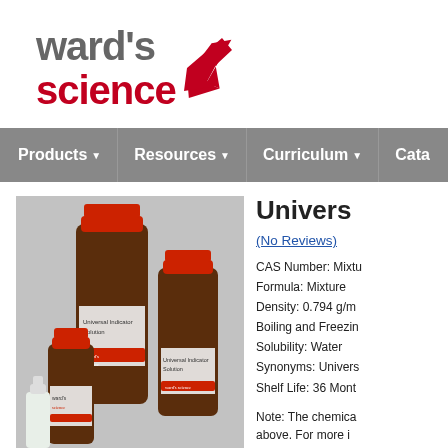[Figure (logo): Ward's Science logo with stylized text and red arrow/checkmark]
Products   Resources   Curriculum   Cata
[Figure (photo): Product photo showing multiple brown bottles of Universal Indicator Solution of various sizes with red caps and Ward's Science labels]
Univers
(No Reviews)
CAS Number: Mixtu
Formula: Mixture
Density: 0.794 g/m
Boiling and Freezin
Solubility: Water
Synonyms: Univers
Shelf Life: 36 Mont
Note: The chemica above. For more i